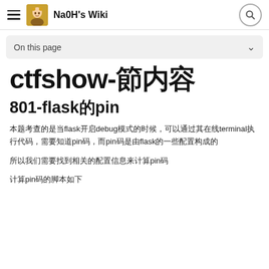Na0H's Wiki
On this page
ctfshow-节内容
801-flask的pin
本题考查的是当flask开启debug模式的时候，可以通过其在线terminal执行代码，需要知道pin码，而pin码是由flask的一些配置构成的
所以我们需要找到相关的配置信息来计算pin码
计算pin码的脚本如下